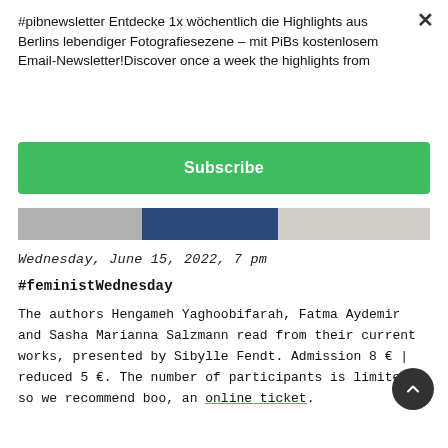#pibnewsletter Entdecke 1x wöchentlich die Highlights aus Berlins lebendiger Fotografiesezene – mit PiBs kostenlosem Email-Newsletter!Discover once a week the highlights from
Subscribe
[Figure (photo): Partial photo strip showing grayscale and blue-toned photographs]
Wednesday, June 15, 2022, 7 pm
#feministWednesday
The authors Hengameh Yaghoobifarah, Fatma Aydemir and Sasha Marianna Salzmann read from their current works, presented by Sibylle Fendt. Admission 8 € | reduced 5 €. The number of participants is limited, so we recommend booking an online ticket.